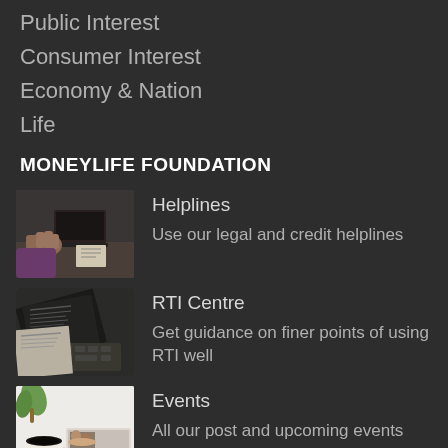Public Interest
Consumer Interest
Economy & Nation
Life
MONEYLIFE FOUNDATION
[Figure (photo): People at a meeting with hands and laptop visible]
Helplines
Use our legal and credit helplines
[Figure (photo): Newspaper and keyboard on desk]
RTI Centre
Get guidance on finer points of using RTI well
[Figure (photo): Coffee cup and magazine on white surface with plant]
Events
All our post and upcoming events